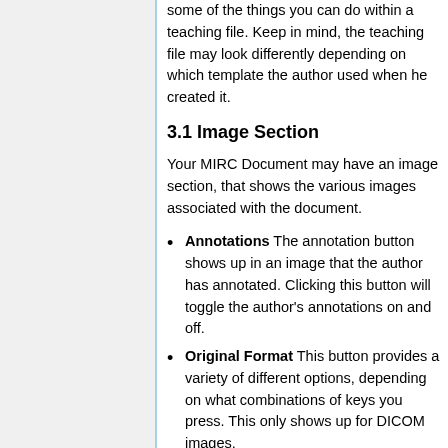some of the things you can do within a teaching file. Keep in mind, the teaching file may look differently depending on which template the author used when he created it.
3.1 Image Section
Your MIRC Document may have an image section, that shows the various images associated with the document.
Annotations The annotation button shows up in an image that the author has annotated. Clicking this button will toggle the author's annotations on and off.
Original Format This button provides a variety of different options, depending on what combinations of keys you press. This only shows up for DICOM images.